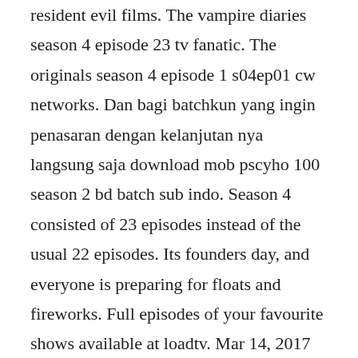resident evil films. The vampire diaries season 4 episode 23 tv fanatic. The originals season 4 episode 1 s04ep01 cw networks. Dan bagi batchkun yang ingin penasaran dengan kelanjutan nya langsung saja download mob pscyho 100 season 2 bd batch sub indo. Season 4 consisted of 23 episodes instead of the usual 22 episodes. Its founders day, and everyone is preparing for floats and fireworks. Full episodes of your favourite shows available at loadtv. Mar 14, 2017 stream the originals season 4 episode 1 at hd quality. Mob psycho 100 season 2 episode 1 subtitle